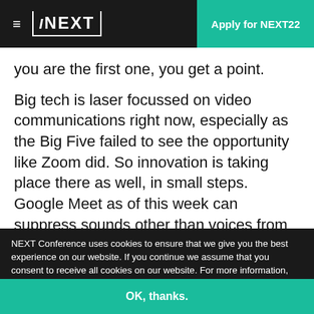≡  NEXT    Apply for NEXT22
you are the first one, you get a point.
Big tech is laser focussed on video communications right now, especially as the Big Five failed to see the opportunity like Zoom did. So innovation is taking place there as well, in small steps. Google Meet as of this week can suppress sounds other than voices from a video call. In Microsoft Teams
NEXT Conference uses cookies to ensure that we give you the best experience on our website. If you continue we assume that you consent to receive all cookies on our website. For more information, please see our Cookie Policy. More info
OK, thanks.